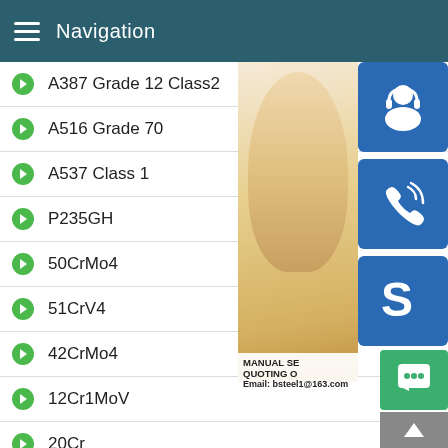Navigation
A387 Grade 12 Class2
A516 Grade 70
A537 Class 1
P235GH
50CrMo4
51CrV4
42CrMo4
12Cr1MoV
20Cr
40Cr
15CrMo
[Figure (photo): Customer service representative (woman with headset) with blue support icon buttons and Skype icon. Text overlay reads: MANUAL SE... QUOTING O... Email: bsteel1@163.com]